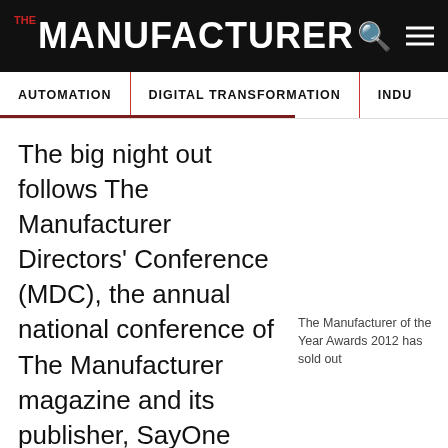THE MANUFACTURER
AUTOMATION | DIGITAL TRANSFORMATION | INDU
The big night out follows The Manufacturer Directors' Conference (MDC), the annual national conference of The Manufacturer magazine and its publisher, SayOne Media.
The Manufacturer of the Year Awards 2012 has sold out